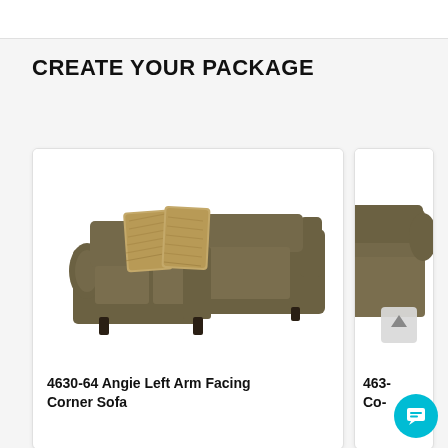CREATE YOUR PACKAGE
[Figure (photo): Brown/olive sectional sofa (left arm facing corner sofa) with two decorative pillows in a warm patterned fabric, photographed on white background. Product: 4630-64 Angie Left Arm Facing Corner Sofa.]
4630-64 Angie Left Arm Facing Corner Sofa
[Figure (photo): Partially visible brown/olive sofa arm and seat, cropped at right edge. Partial product label visible: 463- Co-]
463- Co-